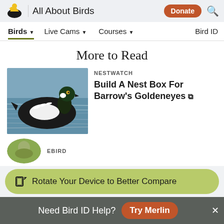All About Birds — Donate | Search
Birds ▾  Live Cams ▾  Courses ▾  Bird ID
More to Read
NestWatch
Build A Nest Box For Barrow's Goldeneyes ↗
[Figure (photo): A Barrow's Goldeneye duck floating on water, black and white plumage with green head]
eBird
[Figure (screenshot): Rotate Your Device to Better Compare banner overlay]
Need Bird ID Help?  Try Merlin
Overview  ID info  Life History  Maps  Sounds